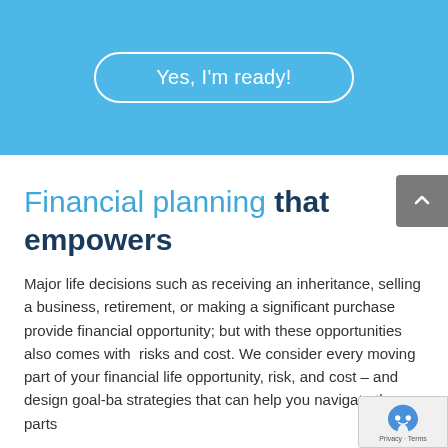[Figure (other): Blue banner section with a white rounded 'Yes, I'm ready!' button]
Financial planning that empowers
Major life decisions such as receiving an inheritance, selling a business, retirement, or making a significant purchase provide financial opportunity; but with these opportunities also comes with  risks and cost. We consider every moving part of your financial life opportunity, risk, and cost – and design goal-ba strategies that can help you navigate those parts